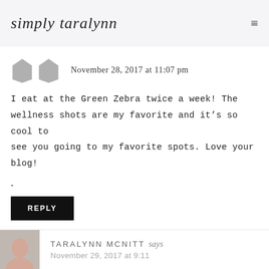simply taralynn
November 28, 2017 at 11:07 pm
I eat at the Green Zebra twice a week! The wellness shots are my favorite and it’s so cool to see you going to my favorite spots. Love your blog!
.
REPLY
TARALYNN MCNITT says
November 29, 2017 at 9:11